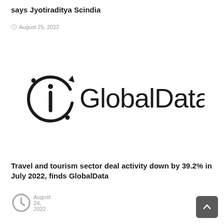says Jyotiraditya Scindia
August 25, 2022
[Figure (logo): GlobalData logo — circular arrow icon with stylized 'i' inside, followed by the text 'GlobalData.' in dark sans-serif font]
Travel and tourism sector deal activity down by 39.2% in July 2022, finds GlobalData
August 24, 2022